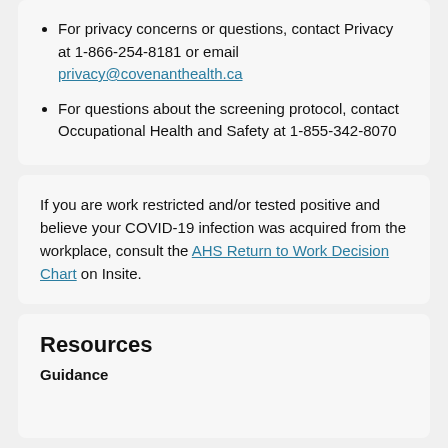For privacy concerns or questions, contact Privacy at 1-866-254-8181 or email privacy@covenanthealth.ca
For questions about the screening protocol, contact Occupational Health and Safety at 1-855-342-8070
If you are work restricted and/or tested positive and believe your COVID-19 infection was acquired from the workplace, consult the AHS Return to Work Decision Chart on Insite.
Resources
Guidance